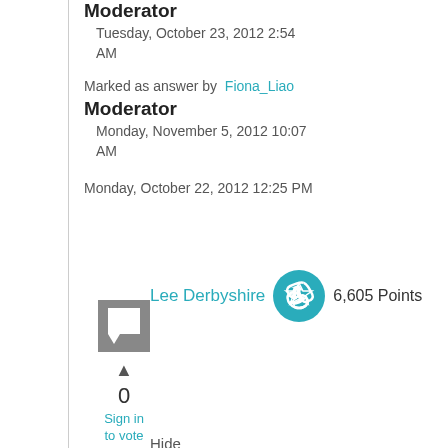Moderator
Tuesday, October 23, 2012 2:54 AM
Marked as answer by  Fiona_Liao
Moderator
Monday, November 5, 2012 10:07 AM
Monday, October 22, 2012 12:25 PM
Lee Derbyshire  6,605 Points
0
Sign in to vote
Hide